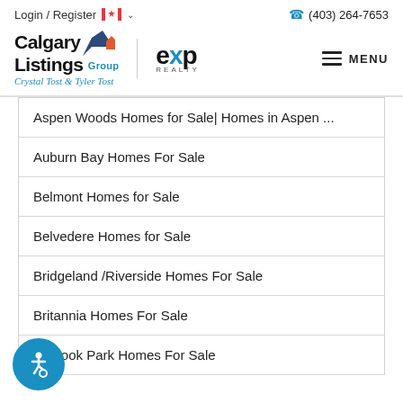Login / Register  (403) 264-7653
[Figure (logo): Calgary Listings Group logo with mountain icon, EXP Realty logo, and hamburger menu button]
Aspen Woods Homes for Sale| Homes in Aspen ...
Auburn Bay Homes For Sale
Belmont Homes for Sale
Belvedere Homes for Sale
Bridgeland /Riverside Homes For Sale
Britannia Homes For Sale
...minook Park Homes For Sale
[Figure (illustration): Blue circular accessibility icon with wheelchair symbol]